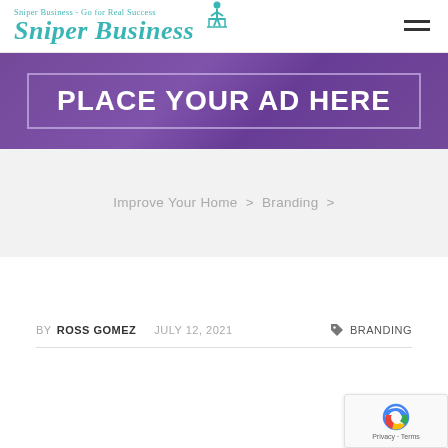Sniper Business - Go for Real Success | Sniper Business
[Figure (infographic): Purple banner with text PLACE YOUR AD HERE inside a bordered box]
Improve Your Home > Branding >
BY ROSS GOMEZ  JULY 12, 2021  BRANDING